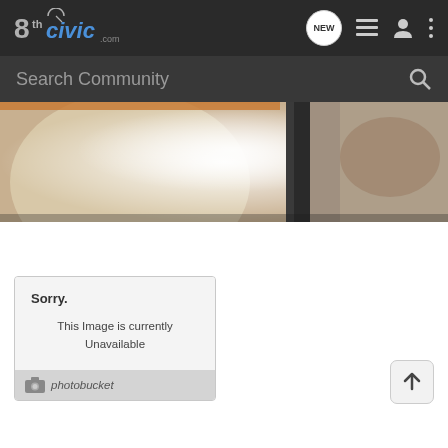8thCivic.com navigation bar with NEW, list, user, and menu icons
Search Community
[Figure (photo): A close-up photograph showing car parts, possibly inside a wheel well or engine bay area, with overexposed/bright lighting in the center and metallic/fabric surfaces visible]
[Figure (screenshot): Photobucket placeholder image showing 'Sorry. This Image is currently Unavailable' with Photobucket logo at bottom]
[Figure (other): Scroll-to-top arrow button (up arrow in a rounded square)]